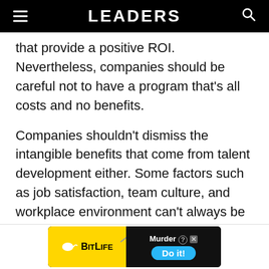LEADERS
that provide a positive ROI. Nevertheless, companies should be careful not to have a program that's all costs and no benefits.
Companies shouldn't dismiss the intangible benefits that come from talent development either. Some factors such as job satisfaction, team culture, and workplace environment can't always be assigned a monetary number. Take all of these benefits into consideration to determine if a leadership development program creates advantages for the organization. If you determine that it doesn't, think of
[Figure (screenshot): BitLife mobile advertisement banner at the bottom of the page, showing BitLife logo on yellow background and 'Murder Do it!' text with blue button]